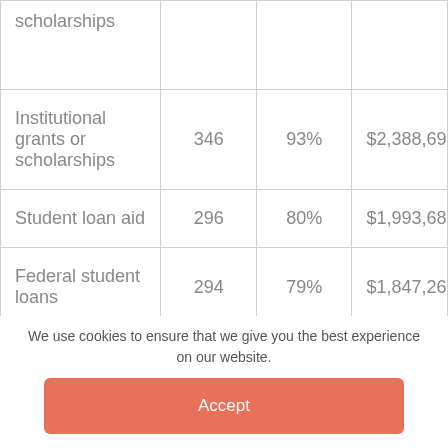|  |  |  |  |
| --- | --- | --- | --- |
| scholarships |  |  |  |
| Institutional grants or scholarships | 346 | 93% | $2,388,69 |
| Student loan aid | 296 | 80% | $1,993,68 |
| Federal student loans | 294 | 79% | $1,847,26 |
|  |  |  |  |
We use cookies to ensure that we give you the best experience on our website.
Accept